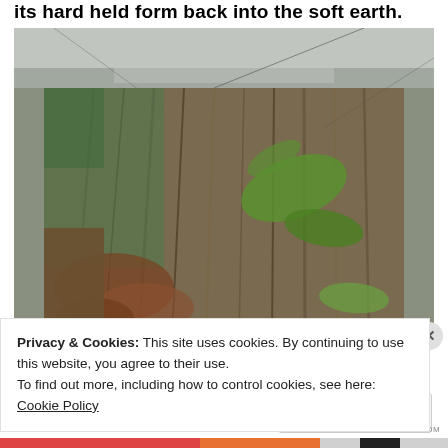its hard held form back into the soft earth.
[Figure (photo): Close-up photograph of a decaying tree stump with textured weathered wood grain, green moss and lichen, fern fronds growing from it, dry brown leaves on the ground, and rocky ground in the background.]
Privacy & Cookies: This site uses cookies. By continuing to use this website, you agree to their use.
To find out more, including how to control cookies, see here: Cookie Policy
Close and accept